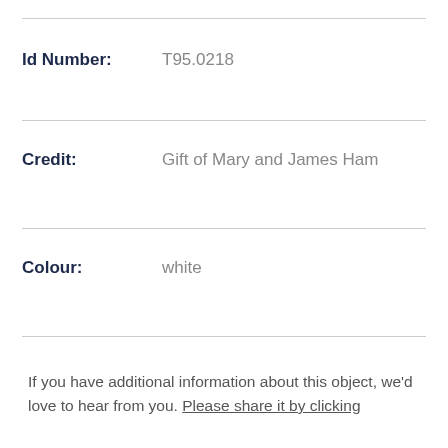Id Number: T95.0218
Credit: Gift of Mary and James Ham
Colour: white
If you have additional information about this object, we'd love to hear from you. Please share it by clicking